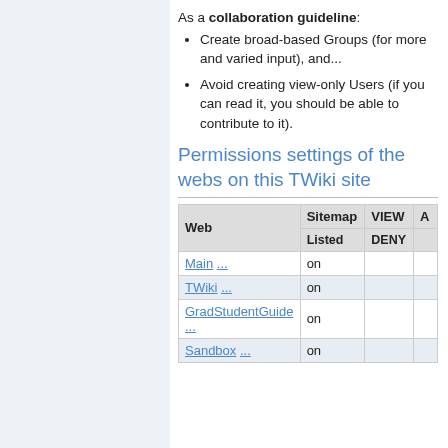As a collaboration guideline:
Create broad-based Groups (for more and varied input), and...
Avoid creating view-only Users (if you can read it, you should be able to contribute to it).
Permissions settings of the webs on this TWiki site
| Web | Sitemap Listed | VIEW DENY | A |
| --- | --- | --- | --- |
| Main ... | on |  |  |
| TWiki ... | on |  |  |
| GradStudentGuide ... | on |  |  |
| Sandbox ... | on |  |  |